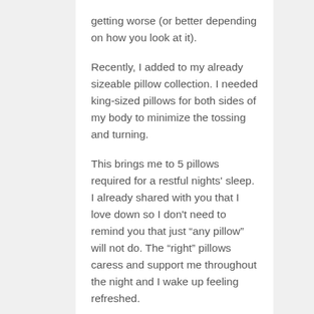getting worse (or better depending on how you look at it).
Recently, I added to my already sizeable pillow collection. I needed king-sized pillows for both sides of my body to minimize the tossing and turning.
This brings me to 5 pillows required for a restful nights' sleep. I already shared with you that I love down so I don't need to remind you that just “any pillow” will not do. The “right” pillows caress and support me throughout the night and I wake up feeling refreshed.